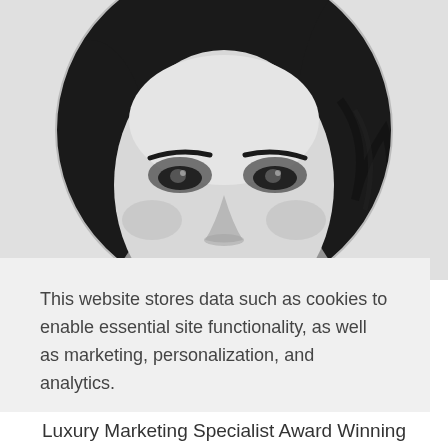[Figure (photo): Black and white circular portrait photo of a woman with dark hair and dramatic eye makeup, cropped to show face and upper head]
This website stores data such as cookies to enable essential site functionality, as well as marketing, personalization, and analytics.
Privacy Policy
Accept
Deny
Luxury Marketing Specialist Award Winning